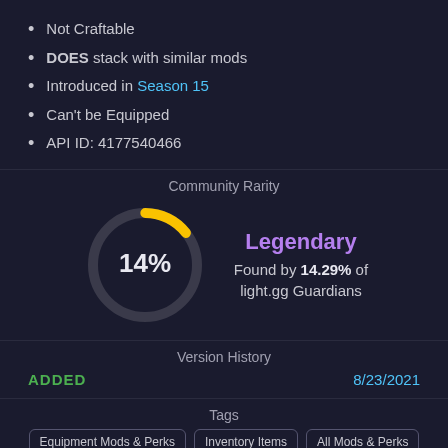Not Craftable
DOES stack with similar mods
Introduced in Season 15
Can't be Equipped
API ID: 4177540466
Community Rarity
[Figure (donut-chart): Community Rarity]
Legendary
Found by 14.29% of light.gg Guardians
Version History
| Status | Date |
| --- | --- |
| ADDED | 8/23/2021 |
Tags
Equipment Mods & Perks | Inventory Items | All Mods & Perks
Other Languages